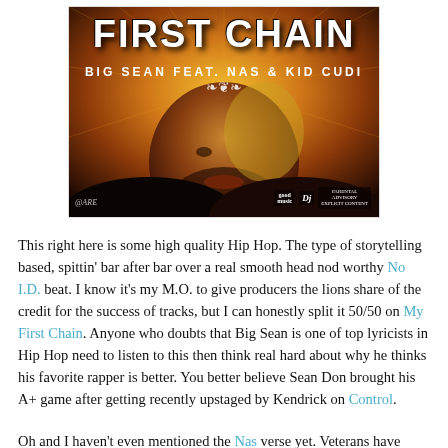[Figure (illustration): Album cover art for 'My First Chain' by Big Sean feat. Nas & Kid Cudi. Shows a close-up of a man's face with golden/fire tones, large bold text 'FIRST CHAIN' at the top, subtitle 'BIG SEAN FEAT. NAS & KID CUDI', decorative ornament, and logos for Good Music, Def Jam, and Parental Advisory at the bottom right.]
This right here is some high quality Hip Hop. The type of storytelling based, spittin' bar after bar over a real smooth head nod worthy No I.D. beat. I know it's my M.O. to give producers the lions share of the credit for the success of tracks, but I can honestly split it 50/50 on My First Chain. Anyone who doubts that Big Sean is one of top lyricists in Hip Hop need to listen to this then think real hard about why he thinks his favorite rapper is better. You better believe Sean Don brought his A+ game after getting recently upstaged by Kendrick on Control.
Oh and I haven't even mentioned the Nas verse yet. Veterans have been known to lose a step over the years, but Nasir Jones simply